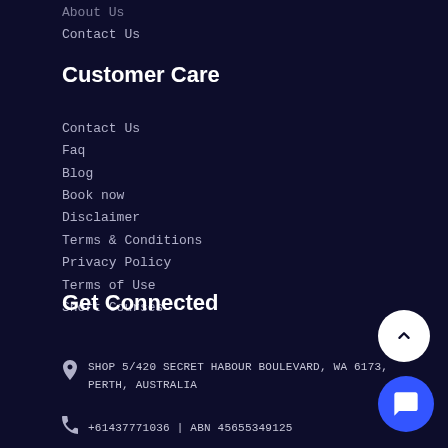About Us
Contact Us
Customer Care
Contact Us
Faq
Blog
Book now
Disclaimer
Terms & Conditions
Privacy Policy
Terms of Use
Short Courses
Get Connected
SHOP 5/420 SECRET HABOUR BOULEVARD, WA 6173, PERTH, AUSTRALIA
+61437771036 | ABN 45655349125